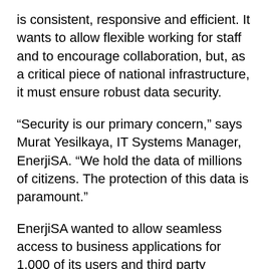is consistent, responsive and efficient. It wants to allow flexible working for staff and to encourage collaboration, but, as a critical piece of national infrastructure, it must ensure robust data security.
“Security is our primary concern,” says Murat Yesilkaya, IT Systems Manager, EnerjiSA. “We hold the data of millions of citizens. The protection of this data is paramount.”
EnerjiSA wanted to allow seamless access to business applications for 1,000 of its users and third party contractors, from engineers to C Level, analysts to office administrators. “We want the business to be more dynamic and more flexible, but remote access has to be secure,” says Yesilkaya.
Application access where security is